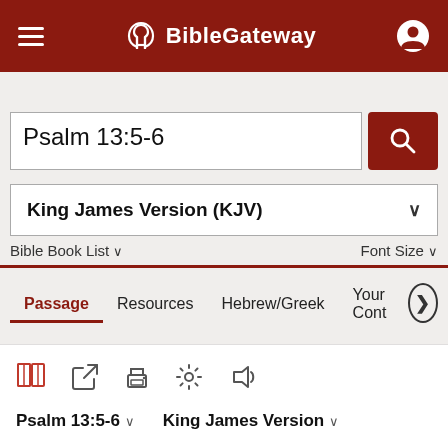BibleGateway
Psalm 13:5-6
King James Version (KJV)
Bible Book List   Font Size
Passage   Resources   Hebrew/Greek   Your Cont
[Figure (screenshot): Toolbar icons: parallel Bible, external link, print, settings, audio]
Psalm 13:5-6   King James Version